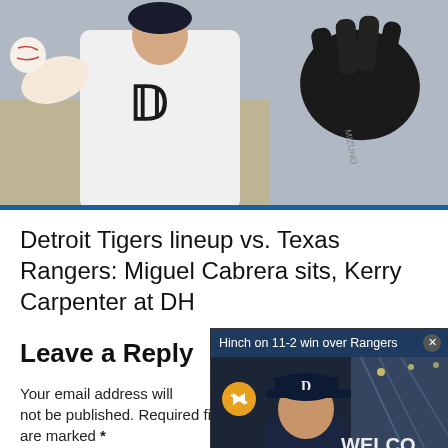[Figure (photo): Detroit Tigers pitcher throwing a baseball, wearing white uniform with 'D' logo on chest, holding black baseball glove]
Detroit Tigers lineup vs. Texas Rangers: Miguel Cabrera sits, Kerry Carpenter at DH
Leave a Reply
Your email address will not be published. Required fields are marked *
Comment *
[Figure (screenshot): Video overlay popup showing 'Hinch on 11-2 win over Rangers' with a man in Detroit Tigers cap in front of a Texas Rangers welcome sign, with mute button and close button]
[Comment text input box]